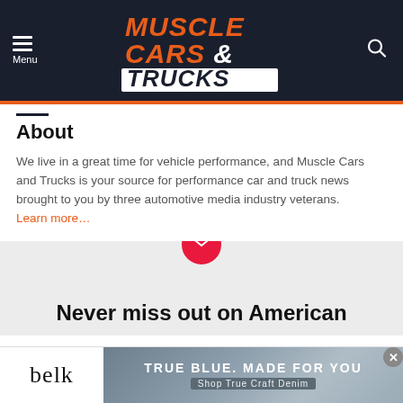Muscle Cars & Trucks — navigation header with logo
About
We live in a great time for vehicle performance, and Muscle Cars and Trucks is your source for performance car and truck news brought to you by three automotive media industry veterans. Learn more…
[Figure (infographic): Newsletter signup card with red mail icon circle and text 'Never miss out on American']
[Figure (infographic): Belk advertisement banner: 'belk' logo on left, 'TRUE BLUE. MADE FOR YOU / Shop True Craft Denim' on denim-textured background on right]